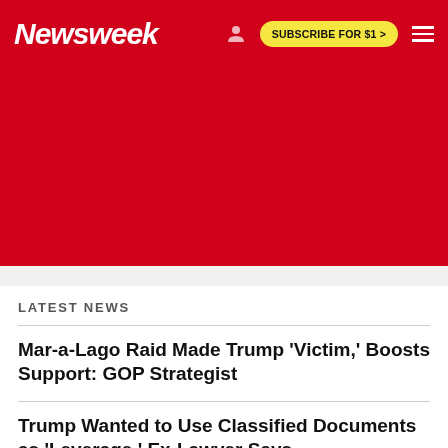Newsweek | SUBSCRIBE FOR $1 >
[Figure (other): Red advertisement banner area]
LATEST NEWS
Mar-a-Lago Raid Made Trump 'Victim,' Boosts Support: GOP Strategist
Trump Wanted to Use Classified Documents as 'Leverage,' Ex-Lawyer Says